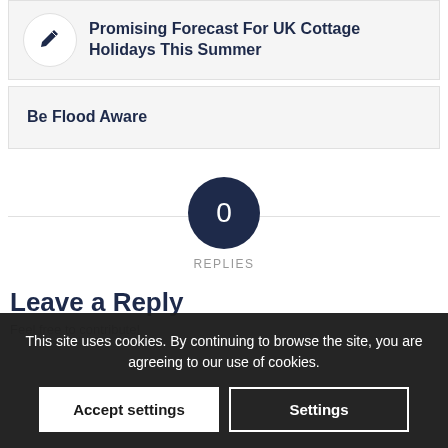Promising Forecast For UK Cottage Holidays This Summer
Be Flood Aware
0 REPLIES
Leave a Reply
Feel free to contribute!
This site uses cookies. By continuing to browse the site, you are agreeing to our use of cookies.
Accept settings
Settings